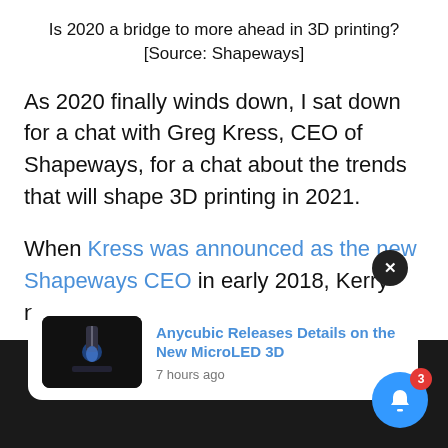Is 2020 a bridge to more ahead in 3D printing? [Source: Shapeways]
As 2020 finally winds down, I sat down for a chat with Greg Kress, CEO of Shapeways, for a chat about the trends that will shape 3D printing in 2021.
When Kress was announced as the new Shapeways CEO in early 2018, Kerry noted, rather astutely, that:
[Figure (screenshot): Popup notification card showing 'Anycubic Releases Details on the New MicroLED 3D' with a thumbnail image of a 3D printer, posted 7 hours ago. A dark close button (X) and blue bell notification button with badge '3' are also visible.]